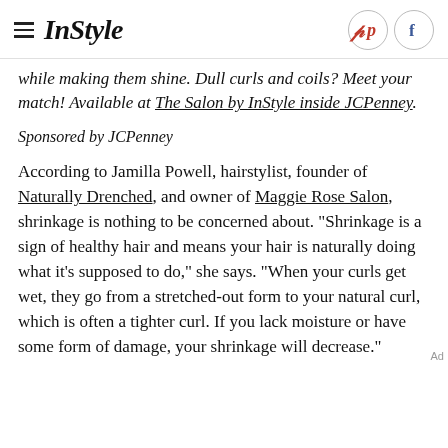InStyle
while making them shine. Dull curls and coils? Meet your match! Available at The Salon by InStyle inside JCPenney.
Sponsored by JCPenney
According to Jamilla Powell, hairstylist, founder of Naturally Drenched, and owner of Maggie Rose Salon, shrinkage is nothing to be concerned about. "Shrinkage is a sign of healthy hair and means your hair is naturally doing what it's supposed to do," she says. "When your curls get wet, they go from a stretched-out form to your natural curl, which is often a tighter curl. If you lack moisture or have some form of damage, your shrinkage will decrease."